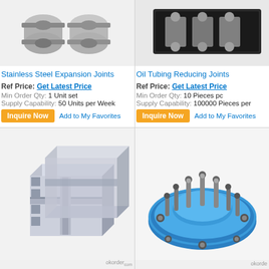[Figure (photo): Stainless Steel Expansion Joints product photo - two cylindrical metal fittings]
[Figure (photo): Oil Tubing Reducing Joints product photo - black metal parts in case]
Stainless Steel Expansion Joints
Oil Tubing Reducing Joints
Ref Price: Get Latest Price
Min Order Qty: 1 Unit set
Supply Capability: 50 Units per Week
Ref Price: Get Latest Price
Min Order Qty: 10 Pieces pc
Supply Capability: 100000 Pieces per
[Figure (photo): Aluminum extrusion profile - silver aluminum T-slot extrusion bars shown in 3D perspective]
[Figure (photo): Blue flange fitting with multiple bolt studs on top, industrial pipe fitting component]